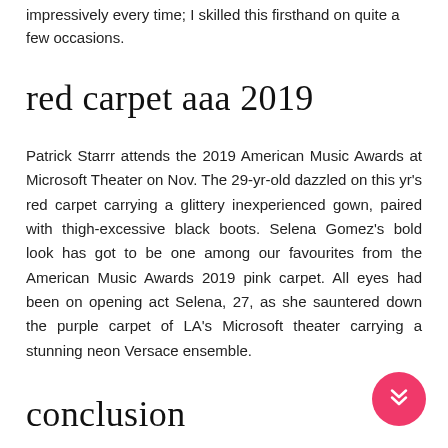impressively every time; I skilled this firsthand on quite a few occasions.
red carpet aaa 2019
Patrick Starrr attends the 2019 American Music Awards at Microsoft Theater on Nov. The 29-yr-old dazzled on this yr's red carpet carrying a glittery inexperienced gown, paired with thigh-excessive black boots. Selena Gomez's bold look has got to be one among our favourites from the American Music Awards 2019 pink carpet. All eyes had been on opening act Selena, 27, as she sauntered down the purple carpet of LA's Microsoft theater carrying a stunning neon Versace ensemble.
conclusion